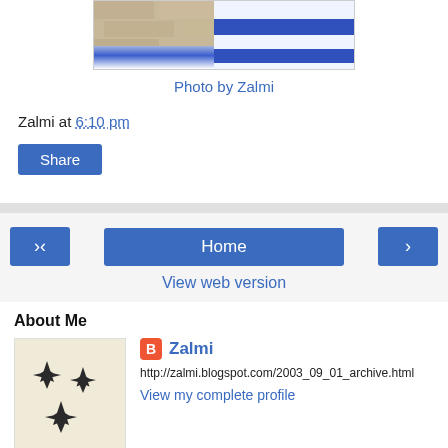[Figure (photo): Partial photo showing a stone wall (Western Wall) with a white and blue flag draped over it]
Photo by Zalmi
Zalmi at 6:10 pm
Share
‹    Home    ›
View web version
About Me
[Figure (illustration): Profile image showing fighter jet silhouettes on a beige background]
Zalmi
http://zalmi.blogspot.com/2003_09_01_archive.html
View my complete profile
Powered by Blogger.